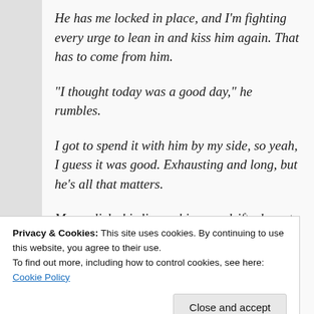He has me locked in place, and I'm fighting every urge to lean in and kiss him again. That has to come from him.
“I thought today was a good day,” he rumbles.
I got to spend it with him by my side, so yeah, I guess it was good. Exhausting and long, but he’s all that matters.
Mason licks his lips as his gaze drifts down to
Privacy & Cookies: This site uses cookies. By continuing to use this website, you agree to their use.
To find out more, including how to control cookies, see here:
Cookie Policy
Close and accept
Kiss me, kiss me, kiss me. I silently beg.